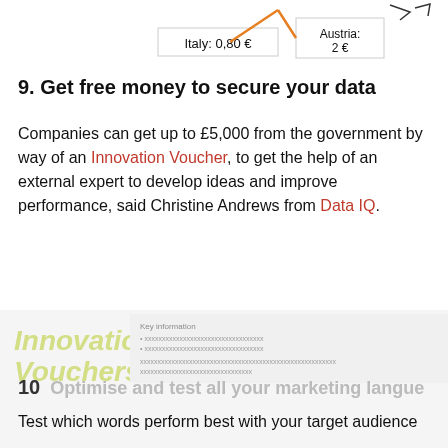[Figure (other): Partial screenshot showing price labels: Italy: 0,80€ and Austria: 2€ with orange arrows on a map]
9. Get free money to secure your data
Companies can get up to £5,000 from the government by way of an Innovation Voucher, to get the help of an external expert to develop ideas and improve performance, said Christine Andrews from Data IQ.
[Figure (screenshot): Innovation Voucher screenshot with cookie consent overlay reading: This website uses cookies to ensure you get the best experience on our website. Learn more | Got it! button]
10  Optimise and test all your marketing langu...
Test which words perform best with your target audience